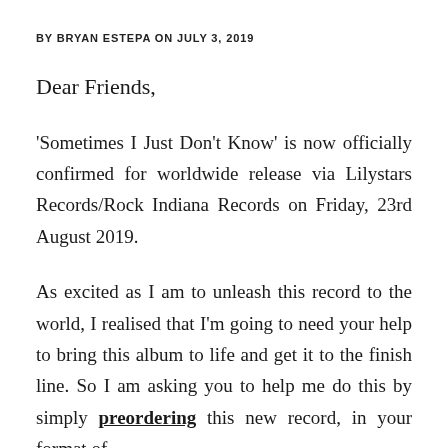BY BRYAN ESTEPA ON JULY 3, 2019
Dear Friends,
'Sometimes I Just Don't Know' is now officially confirmed for worldwide release via Lilystars Records/Rock Indiana Records on Friday, 23rd August 2019.
As excited as I am to unleash this record to the world, I realised that I'm going to need your help to bring this album to life and get it to the finish line. So I am asking you to help me do this by simply preordering this new record, in your format of